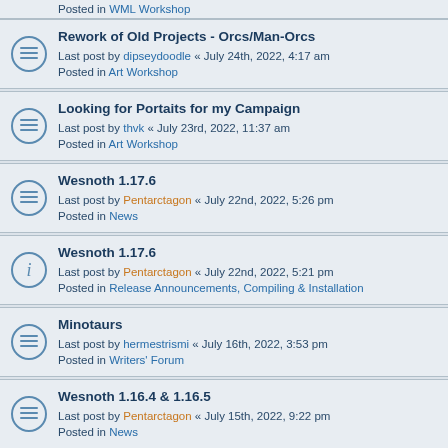Posted in WML Workshop
Rework of Old Projects - Orcs/Man-Orcs
Last post by dipseydoodle « July 24th, 2022, 4:17 am
Posted in Art Workshop
Looking for Portaits for my Campaign
Last post by thvk « July 23rd, 2022, 11:37 am
Posted in Art Workshop
Wesnoth 1.17.6
Last post by Pentarctagon « July 22nd, 2022, 5:26 pm
Posted in News
Wesnoth 1.17.6
Last post by Pentarctagon « July 22nd, 2022, 5:21 pm
Posted in Release Announcements, Compiling & Installation
Minotaurs
Last post by hermestrismi « July 16th, 2022, 3:53 pm
Posted in Writers' Forum
Wesnoth 1.16.4 & 1.16.5
Last post by Pentarctagon « July 15th, 2022, 9:22 pm
Posted in News
[sound_source] wont work properly
Last post by Connor1992 « July 15th, 2022, 2:55 am
Posted in WML Workshop
Kehshakaar-Drake
Last post by hermestrismi « July 14th, 2022, 7:55 pm
Posted in Writers' Forum